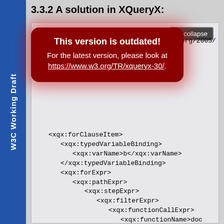W3C Working Draft
3.3.2 A solution in XQueryX:
▼ collapse
[Figure (screenshot): Warning overlay box on dark red background saying 'This version is outdated! For the latest version, please look at https://www.w3.org/TR/xqueryx-30/.']
<?xml version="1.0"?>
<xqx:module xmlns:xqx="http://www.w3.org/2005/...
    ...org/2001/...
    ...://www.w3....
    ...://www.w3....
    <xqx:forClauseItem>
      <xqx:typedVariableBinding>
        <xqx:varName>b</xqx:varName>
      </xqx:typedVariableBinding>
      <xqx:forExpr>
        <xqx:pathExpr>
          <xqx:stepExpr>
            <xqx:filterExpr>
              <xqx:functionCallExpr>
                <xqx:functionName>doc
                <xqx:arguments>
                  <xqx:stringConstan
                    <xqx:value>http:
                  </xqx:stringConsta
                </xqx:arguments>